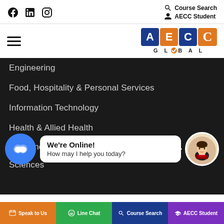[Figure (screenshot): Social media icons: Facebook, LinkedIn, Instagram]
Course Search
AECC Student
[Figure (logo): AECC Global logo with colored letter squares and GLOBAL text]
Engineering
Food, Hospitality & Personal Services
Information Technology
Health & Allied Health
Medicine
Sciences
We're Online!
How may I help you today?
Speak to Us
Line Chat
Course Search
AECC Student